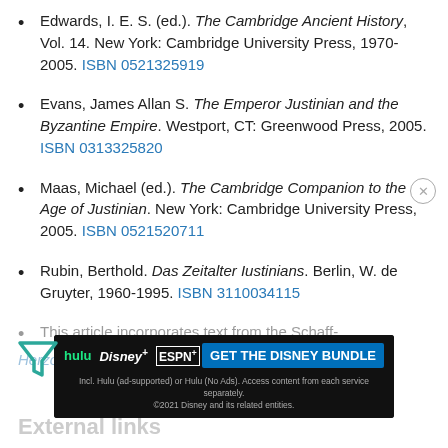Edwards, I. E. S. (ed.). The Cambridge Ancient History, Vol. 14. New York: Cambridge University Press, 1970-2005. ISBN 0521325919
Evans, James Allan S. The Emperor Justinian and the Byzantine Empire. Westport, CT: Greenwood Press, 2005. ISBN 0313325820
Maas, Michael (ed.). The Cambridge Companion to the Age of Justinian. New York: Cambridge University Press, 2005. ISBN 0521520711
Rubin, Berthold. Das Zeitalter Iustinians. Berlin, W. de Gruyter, 1960-1995. ISBN 3110034115
This article incorporates text from the Schaff-Herzog Encyclopedia of Religion...
External links